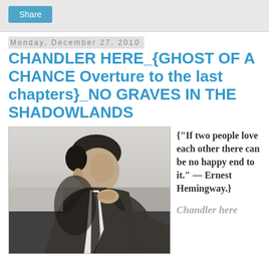Share
Monday, December 27, 2010
CHANDLER HERE_{GHOST OF A CHANCE Overture to the last chapters}_NO GRAVES IN THE SHADOWLANDS
[Figure (photo): Black and white photograph of a man in a suit, hand raised to chin, looking to the side]
{"If two people love each other there can be no happy end to it." — Ernest Hemingway.}
Chandler here